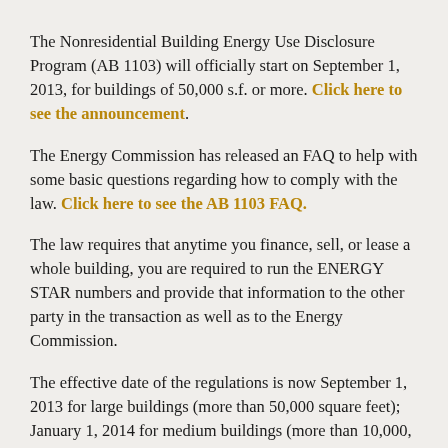The Nonresidential Building Energy Use Disclosure Program (AB 1103) will officially start on September 1, 2013, for buildings of 50,000 s.f. or more. Click here to see the announcement.
The Energy Commission has released an FAQ to help with some basic questions regarding how to comply with the law. Click here to see the AB 1103 FAQ.
The law requires that anytime you finance, sell, or lease a whole building, you are required to run the ENERGY STAR numbers and provide that information to the other party in the transaction as well as to the Energy Commission.
The effective date of the regulations is now September 1, 2013 for large buildings (more than 50,000 square feet); January 1, 2014 for medium buildings (more than 10,000, and up to 50,000 square feet); and July 1, 2014 for small buildings (5,000 up to 10,000 square feet).